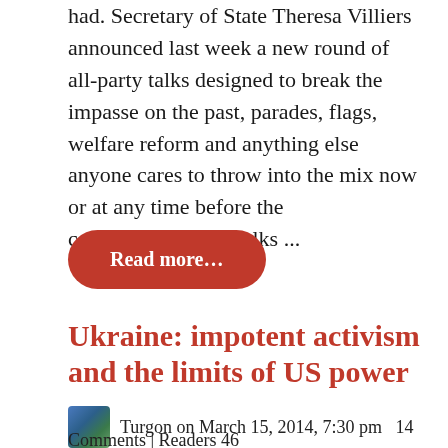had. Secretary of State Theresa Villiers announced last week a new round of all-party talks designed to break the impasse on the past, parades, flags, welfare reform and anything else anyone cares to throw into the mix now or at any time before the commencement of talks ...
Read more...
Ukraine: impotent activism and the limits of US power
Turgon on March 15, 2014, 7:30 pm   14 Comments | Readers 46